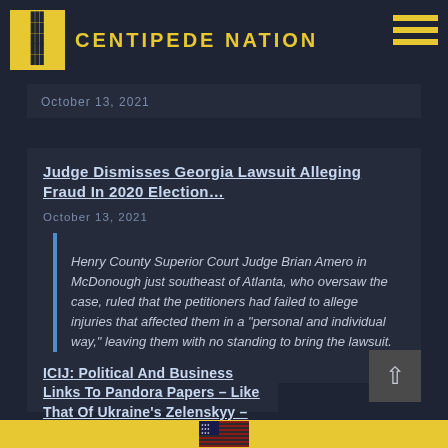CENTIPEDE NATION
October 13, 2021
Judge Dismisses Georgia Lawsuit Alleging Fraud In 2020 Election…
October 13, 2021
Henry County Superior Court Judge Brian Amero in McDonough just southeast of Atlanta, who oversaw the case, ruled that the petitioners had failed to allege injuries that affected them in a "personal and individual way," leaving them with no standing to bring the lawsuit.
ICIJ: Political And Business Links To Pandora Papers – Like That Of Ukraine's Zelenskyy – Roil Parliaments, Anti-Corruption And Tax Authorities As Global Fallout Swells…